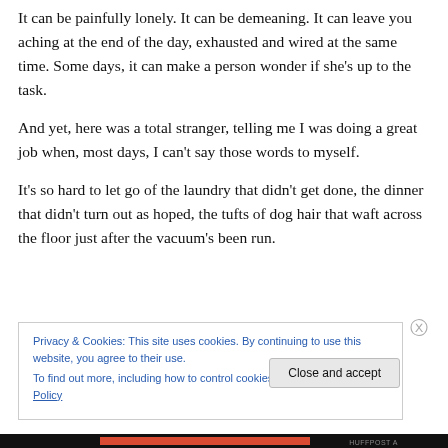It can be painfully lonely. It can be demeaning. It can leave you aching at the end of the day, exhausted and wired at the same time. Some days, it can make a person wonder if she's up to the task.
And yet, here was a total stranger, telling me I was doing a great job when, most days, I can't say those words to myself.
It's so hard to let go of the laundry that didn't get done, the dinner that didn't turn out as hoped, the tufts of dog hair that waft across the floor just after the vacuum's been run.
Privacy & Cookies: This site uses cookies. By continuing to use this website, you agree to their use.
To find out more, including how to control cookies, see here: Cookie Policy
Close and accept